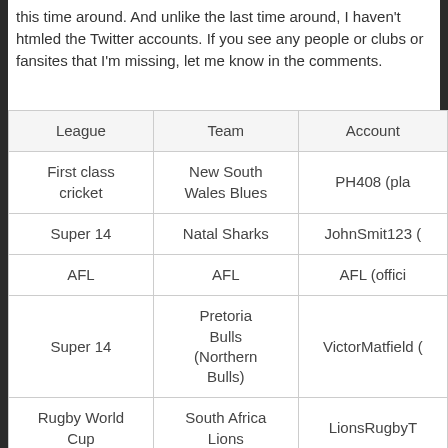this time around. And unlike the last time around, I haven't htmled the Twitter accounts. If you see any people or clubs or fansites that I'm missing, let me know in the comments.
| League | Team | Account |
| --- | --- | --- |
| First class cricket | New South Wales Blues | PH408 (pla… |
| Super 14 | Natal Sharks | JohnSmit123 (… |
| AFL | AFL | AFL (offici… |
| Super 14 | Pretoria Bulls (Northern Bulls) | VictorMatfield (… |
| Rugby World Cup | South Africa Lions | LionsRugbyT… |